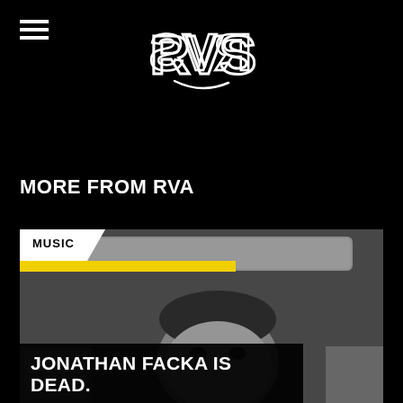[Figure (logo): RVA logo in white graffiti-style lettering on black background]
MORE FROM RVA
[Figure (photo): Black and white photo of a man looking upward with a speaker or shelf above his head; overlaid with MUSIC category tag and article title]
JONATHAN FACKA IS DEAD.